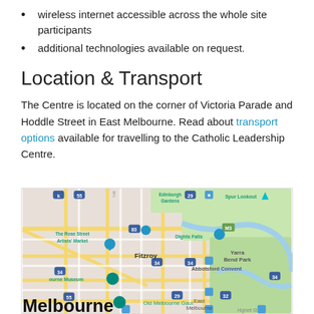wireless internet accessible across the whole site participants
additional technologies available on request.
Location & Transport
The Centre is located on the corner of Victoria Parade and Hoddle Street in East Melbourne. Read about transport options available for travelling to the Catholic Leadership Centre.
[Figure (map): Google Maps screenshot showing East Melbourne area including Fitzroy, Old Melbourne Gaol, Abbotsford Convent, Yarra Bend Park, Edinburgh Gardens, Dights Falls, Spur Lookout, The Rose Street Artists Market, and Melbourne city label.]